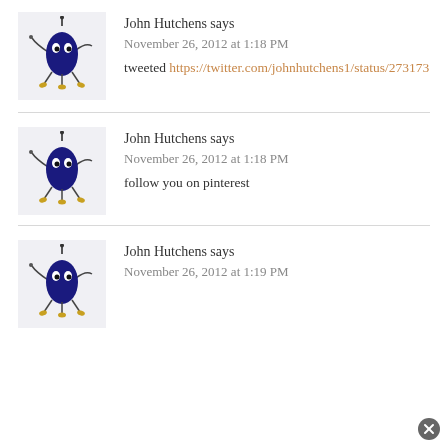John Hutchens says
November 26, 2012 at 1:18 PM
tweeted https://twitter.com/johnhutchens1/status/273173...
John Hutchens says
November 26, 2012 at 1:18 PM
follow you on pinterest
John Hutchens says
November 26, 2012 at 1:19 PM